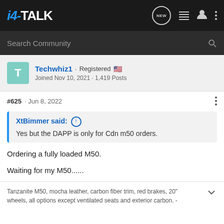i4-TALK
Search Community
Techwhiz1 · Registered
Joined Nov 10, 2021 · 1,419 Posts
#625 · Jun 8, 2022
XtBimmer said: ↑
Yes but the DAPP is only for Cdn m50 orders.
Ordering a fully loaded M50.
Waiting for my M50......
Tanzanite M50, mocha leather, carbon fiber trim, red brakes, 20" wheels, all options except ventilated seats and exterior carbon. -